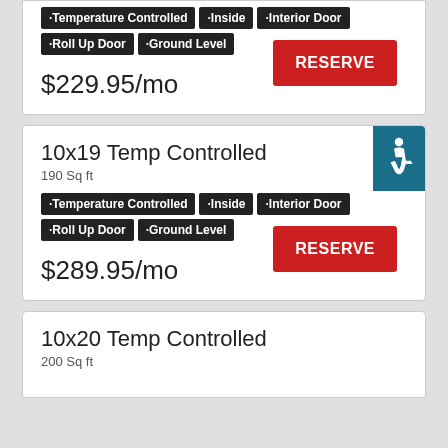·Temperature Controlled ·Inside ·Interior Door ·Roll Up Door ·Ground Level
$229.95/mo
RESERVE
10x19 Temp Controlled
190 Sq ft
·Temperature Controlled ·Inside ·Interior Door ·Roll Up Door ·Ground Level
$289.95/mo
RESERVE
10x20 Temp Controlled
200 Sq ft